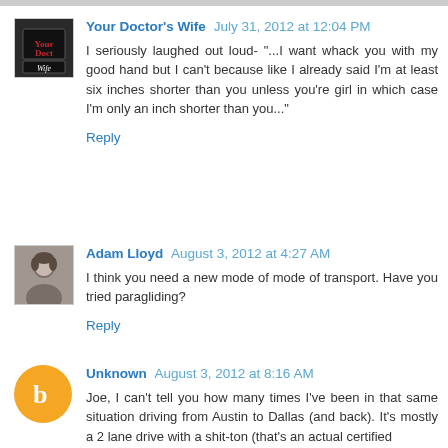Your Doctor's Wife  July 31, 2012 at 12:04 PM
I seriously laughed out loud- "...I want whack you with my good hand but I can't because like I already said I'm at least six inches shorter than you unless you're girl in which case I'm only an inch shorter than you..."
Reply
Adam Lloyd  August 3, 2012 at 4:27 AM
I think you need a new mode of mode of transport. Have you tried paragliding?
Reply
Unknown  August 3, 2012 at 8:16 AM
Joe, I can't tell you how many times I've been in that same situation driving from Austin to Dallas (and back). It's mostly a 2 lane drive with a shit-ton (that's an actual certified